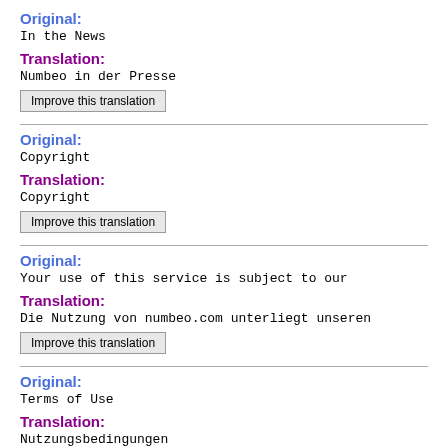Original:
In the News
Translation:
Numbeo in der Presse
Improve this translation
Original:
Copyright
Translation:
Copyright
Improve this translation
Original:
Your use of this service is subject to our
Translation:
Die Nutzung von numbeo.com unterliegt unseren
Improve this translation
Original:
Terms of Use
Translation:
Nutzungsbedingungen